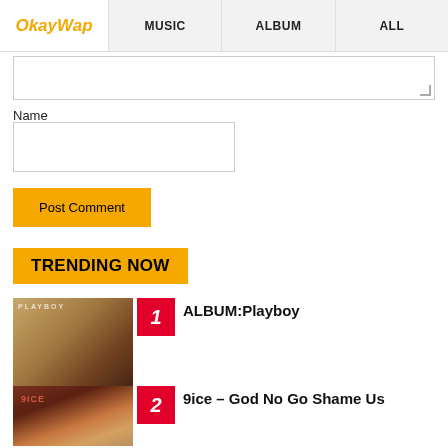OkayWap | MUSIC | ALBUM | ALL
Name
Post Comment
TRENDING NOW
1 ALBUM:Playboy
2 9ice – God No Go Shame Us